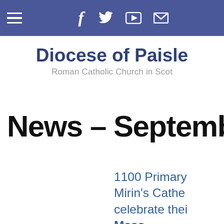Diocese of Paisley — navigation bar with hamburger menu, Facebook, Twitter, YouTube, and email icons
Diocese of Paisle
Roman Catholic Church in Scot
News – Septembe
1100 Primary Mirin's Cathe celebrate thei Mass